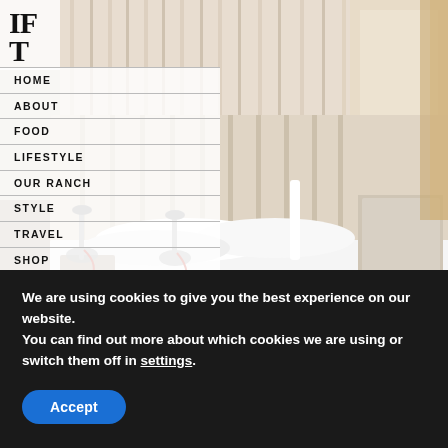[Figure (photo): Hotel bedroom with cream upholstered headboard, white pillows, chrome bedside lamps with red cords, sheer curtains and window in background]
IF T (logo initials)
HOME
ABOUT
FOOD
LIFESTYLE
OUR RANCH
STYLE
TRAVEL
SHOP
HOLIDAYS
We are using cookies to give you the best experience on our website.
You can find out more about which cookies we are using or switch them off in settings.
Accept